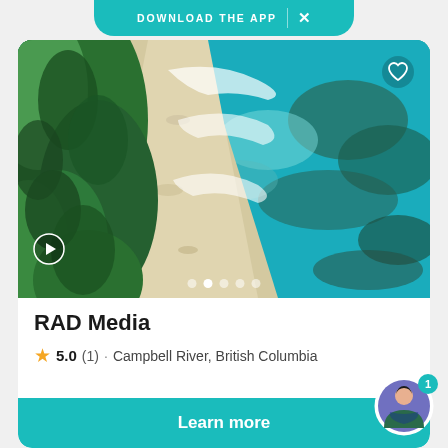DOWNLOAD THE APP
[Figure (photo): Aerial drone photo of a tropical beach with dense green jungle on the left, white sand beach in the middle, and turquoise ocean water with coral reef on the right.]
RAD Media
5.0 (1) · Campbell River, British Columbia
Learn more